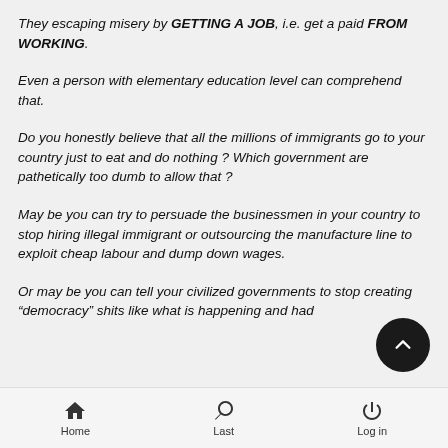They escaping misery by GETTING A JOB, i.e. get a paid FROM WORKING.
Even a person with elementary education level can comprehend that.
Do you honestly believe that all the millions of immigrants go to your country just to eat and do nothing ? Which government are pathetically too dumb to allow that ?
May be you can try to persuade the businessmen in your country to stop hiring illegal immigrant or outsourcing the manufacture line to exploit cheap labour and dump down wages.
Or may be you can tell your civilized governments to stop creating “democracy” shits like what is happening and had
Home   Last   Log in